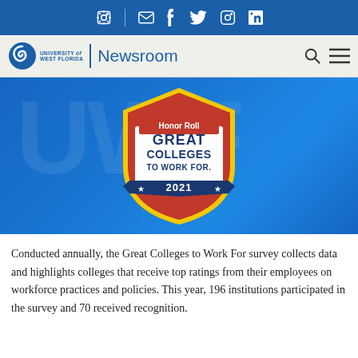University of West Florida Newsroom — social media icon bar
[Figure (logo): University of West Florida Newsroom logo with UWF spiral icon and wordmark]
[Figure (logo): Honor Roll — Great Colleges To Work For 2021 badge/shield on blue background]
Conducted annually, the Great Colleges to Work For survey collects data and highlights colleges that receive top ratings from their employees on workforce practices and policies. This year, 196 institutions participated in the survey and 70 received recognition.